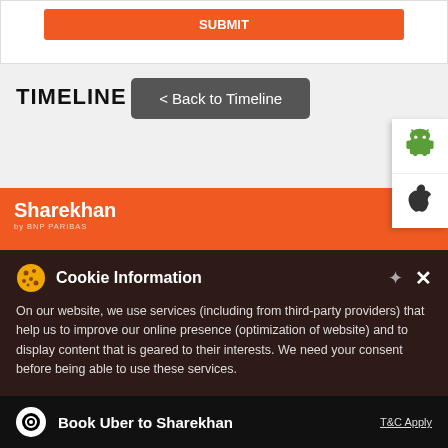[Figure (screenshot): Orange SUBMIT button at top of page]
TIMELINE
[Figure (screenshot): < Back to Timeline button (dark gray)]
[Figure (screenshot): Android and Apple app store icons on right side]
[Figure (logo): Sharekhan by BNP PARIBAS orange header bar]
Cookie Information
On our website, we use services (including from third-party providers) that help us to improve our online presence (optimization of website) and to display content that is geared to their interests. We need your consent before being able to use these services.
[Figure (screenshot): Book Uber to Sharekhan bottom bar with Uber logo and T&C Apply link]